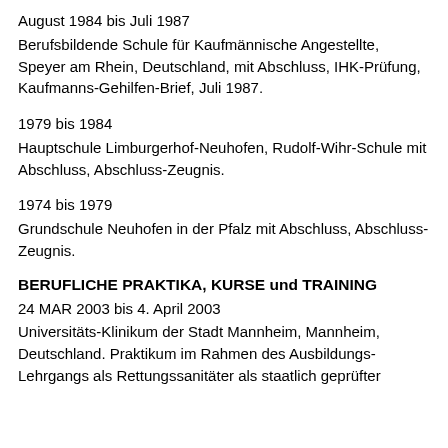August 1984 bis Juli 1987
Berufsbildende Schule für Kaufmännische Angestellte, Speyer am Rhein, Deutschland, mit Abschluss, IHK-Prüfung, Kaufmanns-Gehilfen-Brief, Juli 1987.
1979 bis 1984
Hauptschule Limburgerhof-Neuhofen, Rudolf-Wihr-Schule mit Abschluss, Abschluss-Zeugnis.
1974 bis 1979
Grundschule Neuhofen in der Pfalz mit Abschluss, Abschluss-Zeugnis.
BERUFLICHE PRAKTIKA, KURSE und TRAINING
24 MAR 2003 bis 4. April 2003
Universitäts-Klinikum der Stadt Mannheim, Mannheim, Deutschland. Praktikum im Rahmen des Ausbildungs-Lehrgangs als Rettungssanitäter als staatlich geprüfter